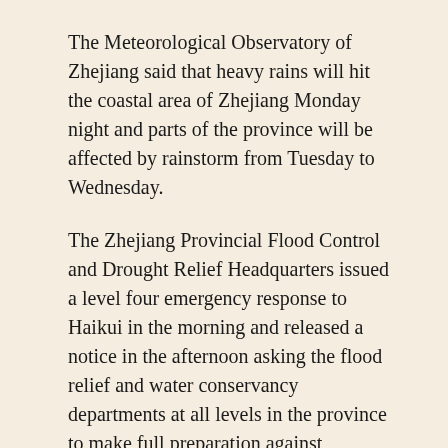The Meteorological Observatory of Zhejiang said that heavy rains will hit the coastal area of Zhejiang Monday night and parts of the province will be affected by rainstorm from Tuesday to Wednesday.
The Zhejiang Provincial Flood Control and Drought Relief Headquarters issued a level four emergency response to Haikui in the morning and released a notice in the afternoon asking the flood relief and water conservancy departments at all levels in the province to make full preparation against typhoon.
The notice also said that Haikui, which is strong and moving at a fast speed, will probably make landfalls in the central part of the coastal area of the province.
Heavy rains will hit many areas in south and east China from Sunday to Tuesday, as Haikui approaches the mainland while stormy weather caused by dual typhoons, Saola and Damrov, continues to affect China's coastal regions.